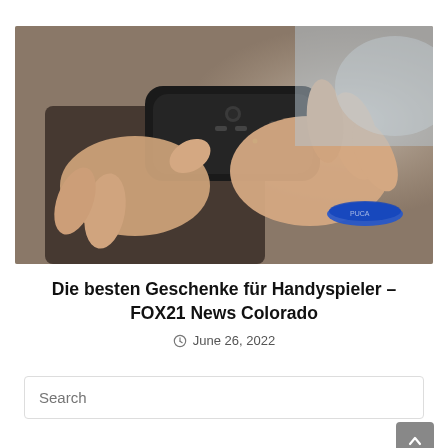[Figure (photo): Close-up photo of two hands holding a black gaming controller/gamepad. The person is wearing a blue wristband on their right wrist. The background shows dark fabric.]
Die besten Geschenke für Handyspieler – FOX21 News Colorado
June 26, 2022